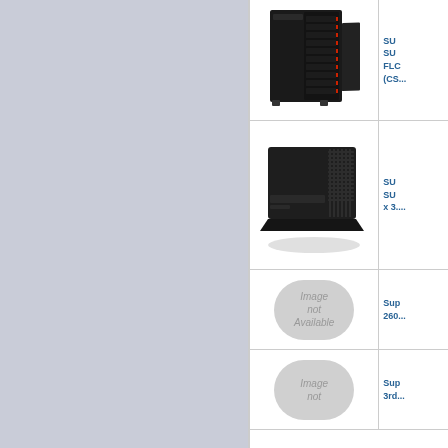[Figure (photo): Supermicro tower server with open door showing drive bays, black chassis, row 1]
SUPERMICRO SUPER SERVER FLOOR STAND (CS...)
[Figure (photo): Supermicro black tower workstation/server, compact form factor, row 2]
SUPERMICRO SUPER SERVER x 3....
[Figure (other): Image not Available placeholder]
Supermicro 2600...
[Figure (other): Image not Available placeholder]
Supermicro 3rd...